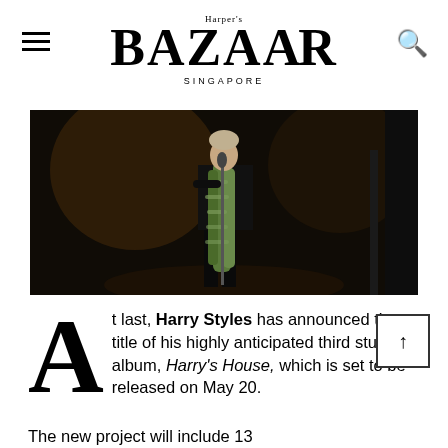Harper's BAZAAR SINGAPORE
[Figure (photo): A performer on stage wearing a black leather outfit with a green feather boa, standing at a microphone in a darkly lit venue]
At last, Harry Styles has announced the title of his highly anticipated third studio album, Harry's House, which is set to be released on May 20.
The new project will include 13